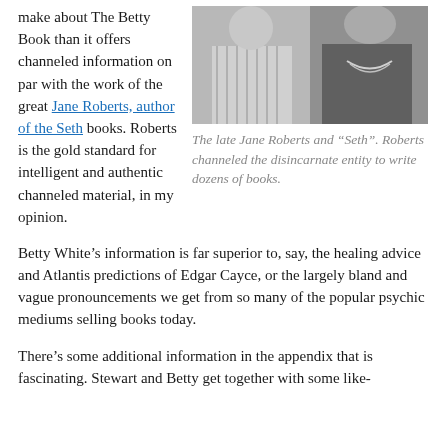make about The Betty Book than it offers channeled information on par with the work of the great Jane Roberts, author of the Seth books. Roberts is the gold standard for intelligent and authentic channeled material, in my opinion.
[Figure (photo): Black and white photograph of the late Jane Roberts and 'Seth'.]
The late Jane Roberts and “Seth”. Roberts channeled the disincarnate entity to write dozens of books.
Betty White’s information is far superior to, say, the healing advice and Atlantis predictions of Edgar Cayce, or the largely bland and vague pronouncements we get from so many of the popular psychic mediums selling books today.
There’s some additional information in the appendix that is fascinating. Stewart and Betty get together with some like-